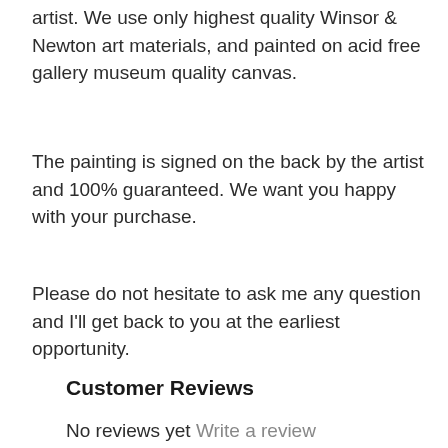artist. We use only highest quality Winsor & Newton art materials, and painted on acid free gallery museum quality canvas.
The painting is signed on the back by the artist and 100% guaranteed. We want you happy with your purchase.
Please do not hesitate to ask me any question and I'll get back to you at the earliest opportunity.
Customer Reviews
No reviews yet Write a review